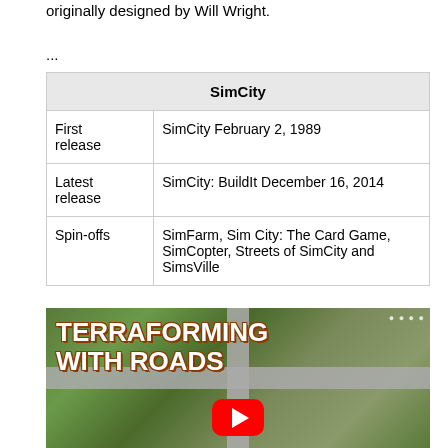originally designed by Will Wright.
...
| SimCity |
| --- |
| First release | SimCity February 2, 1989 |
| Latest release | SimCity: BuildIt December 16, 2014 |
| Spin-offs | SimFarm, Sim City: The Card Game, SimCopter, Streets of SimCity and SimsVille |
[Figure (screenshot): YouTube video thumbnail showing a SimCity aerial view with roads intersecting, overlaid with the text 'TERRAFORMING WITH ROADS' and a YouTube play button.]